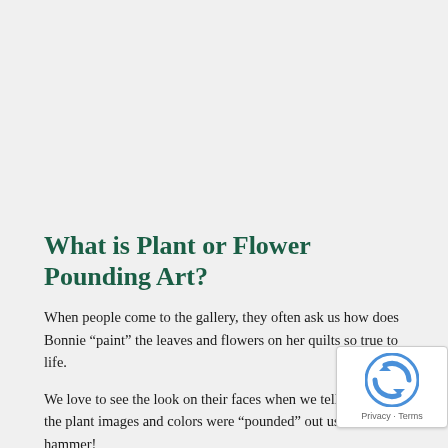What is Plant or Flower Pounding Art?
When people come to the gallery, they often ask us how does Bonnie “paint” the leaves and flowers on her quilts so true to life.
We love to see the look on their faces when we tell them that all the plant images and colors were “pounded” out using a hammer!
So how is flower or plant pounding really done? Bonnie